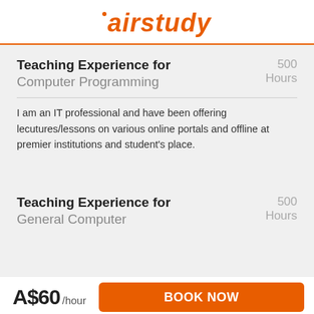airstudy
Teaching Experience for Computer Programming
500 Hours
I am an IT professional and have been offering lecutures/lessons on various online portals and offline at premier institutions and student's place.
Teaching Experience for General Computer
500 Hours
A$60 /hour
BOOK NOW